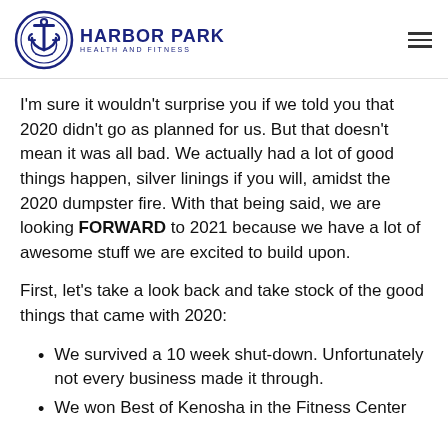HARBOR PARK HEALTH AND FITNESS
I'm sure it wouldn't surprise you if we told you that 2020 didn't go as planned for us. But that doesn't mean it was all bad. We actually had a lot of good things happen, silver linings if you will, amidst the 2020 dumpster fire. With that being said, we are looking FORWARD to 2021 because we have a lot of awesome stuff we are excited to build upon.
First, let's take a look back and take stock of the good things that came with 2020:
We survived a 10 week shut-down. Unfortunately not every business made it through.
We won Best of Kenosha in the Fitness Center